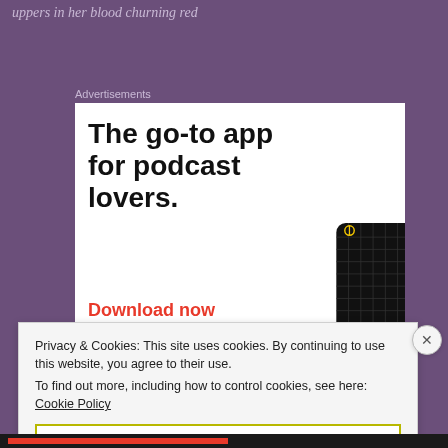uppers in her blood churning red
Advertisements
[Figure (screenshot): Advertisement for a podcast app: 'The go-to app for podcast lovers. Download now' with app cards including 99% Invisible]
Privacy & Cookies: This site uses cookies. By continuing to use this website, you agree to their use.
To find out more, including how to control cookies, see here: Cookie Policy
Close and accept